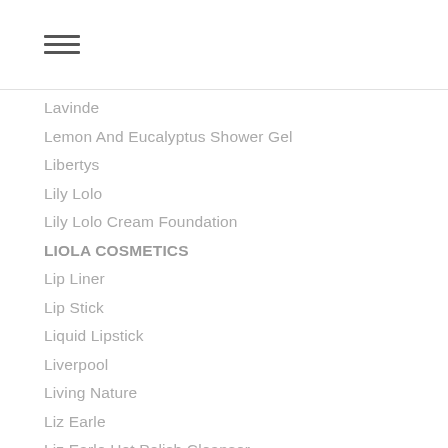Lavinde
Lemon And Eucalyptus Shower Gel
Libertys
Lily Lolo
Lily Lolo Cream Foundation
LIOLA COSMETICS
Lip Liner
Lip Stick
Liquid Lipstick
Liverpool
Living Nature
Liz Earle
Liz Earle Hot Polish Cleanser
L'occitane
L'occitane Reusable Advent Calendar
Lockdown Beauty
L'oiseau Bleu
London